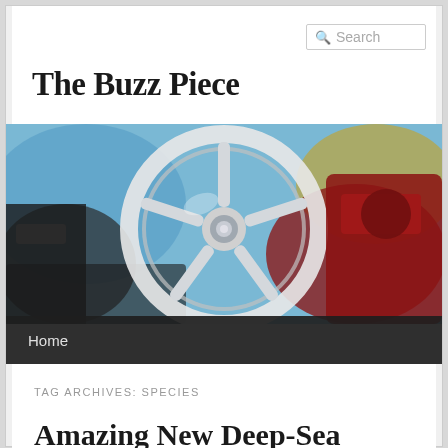Search
The Buzz Piece
[Figure (photo): Close-up photo of a chrome wheel hub or valve wheel with red mechanical components in the background, shallow depth of field with blue bokeh]
Home
TAG ARCHIVES: SPECIES
Amazing New Deep-Sea